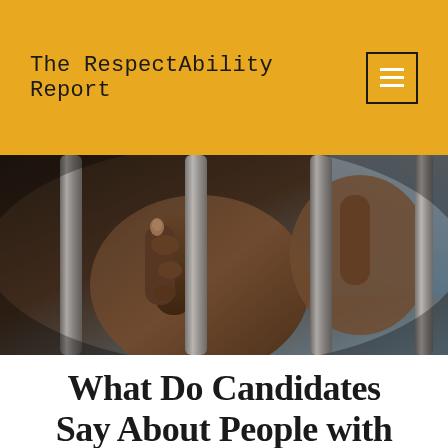The RespectAbility Report
[Figure (photo): Close-up photograph of a person's hands gripping metal jail/prison bars, dark and dramatic lighting]
What Do Candidates Say About People with Disabilities in the